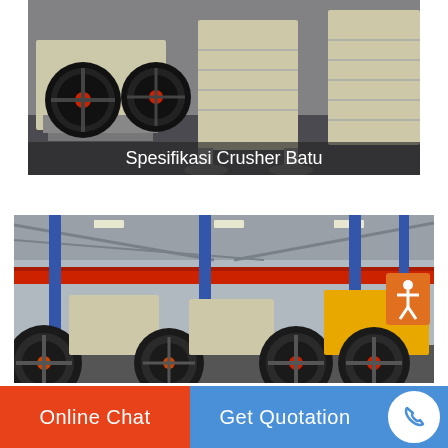[Figure (photo): Stone crushers / jaw crushers industrial machines with red and black flywheel components on workshop floor, cream-colored metal bodies]
Spesifikasi Crusher Batu
[Figure (photo): Industrial factory floor with rows of jaw crusher machines with large black and yellow flywheels, overhead red crane beam, blue steel columns, safety sign visible on right]
Online Chat
Get Quotation